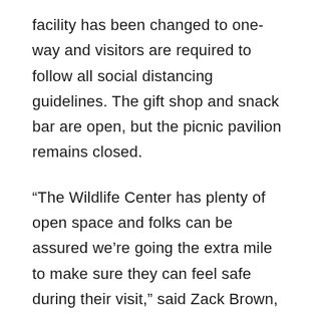facility has been changed to one-way and visitors are required to follow all social distancing guidelines. The gift shop and snack bar are open, but the picnic pavilion remains closed.
“The Wildlife Center has plenty of open space and folks can be assured we’re going the extra mile to make sure they can feel safe during their visit,” said Zack Brown, assistant chief of operations for DNR’s Wildlife Resources Section. “With summer here, now is a great time to get outside, enjoy some